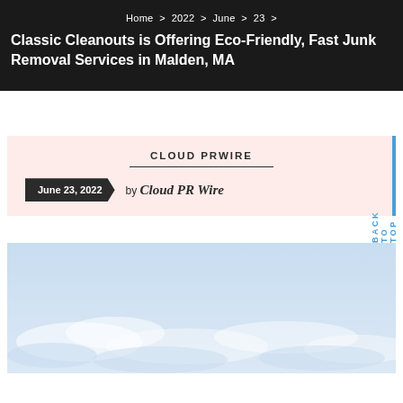Home > 2022 > June > 23 >
Classic Cleanouts is Offering Eco-Friendly, Fast Junk Removal Services in Malden, MA
[Figure (logo): Cloud PRWire publisher card with date badge showing June 23, 2022 and author Cloud PR Wire in script font, on a pink/rose background]
[Figure (photo): Sky photograph showing light blue sky with wispy clouds]